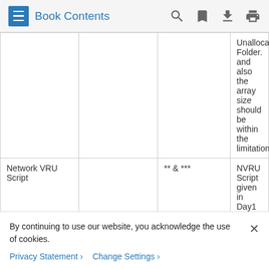Book Contents
|  |  |  | Unallocated Folder. and also the array size should be within the limitation |
| Network VRU Script |  | ** & *** | NVRU Script given in Day1 by default will be available under Unallocated Folder. Note: Since it is mapped to the... |
By continuing to use our website, you acknowledge the use of cookies.
Privacy Statement > Change Settings >